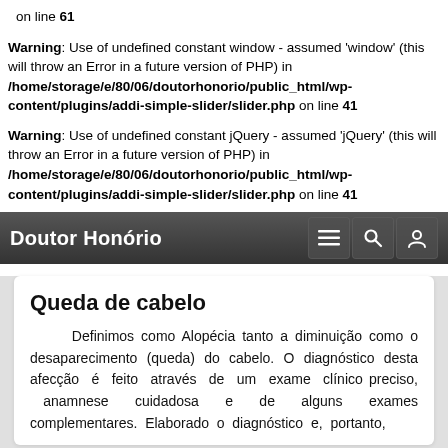on line 61
Warning: Use of undefined constant window - assumed 'window' (this will throw an Error in a future version of PHP) in /home/storage/e/80/06/doutorhonorio/public_html/wp-content/plugins/addi-simple-slider/slider.php on line 41
Warning: Use of undefined constant jQuery - assumed 'jQuery' (this will throw an Error in a future version of PHP) in /home/storage/e/80/06/doutorhonorio/public_html/wp-content/plugins/addi-simple-slider/slider.php on line 41
Doutor Honório
Queda de cabelo
Definimos como Alopécia tanto a diminuição como o desaparecimento (queda) do cabelo. O diagnóstico desta afecção é feito através de um exame clínico preciso, anamnese cuidadosa e de alguns exames complementares. Elaborado o diagnóstico e, portanto,